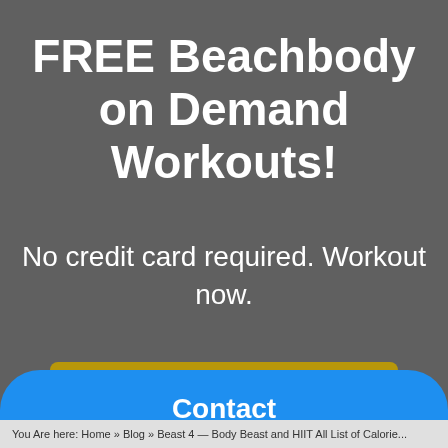FREE Beachbody on Demand Workouts!
No credit card required. Workout now.
[Figure (other): Gold/yellow button labeled 'Access Free Workouts']
[Figure (other): Blue rounded button labeled 'Contact']
You Are here: Home » Blog » Beast 4 — Body Beast and HIIT All List of Calorie...